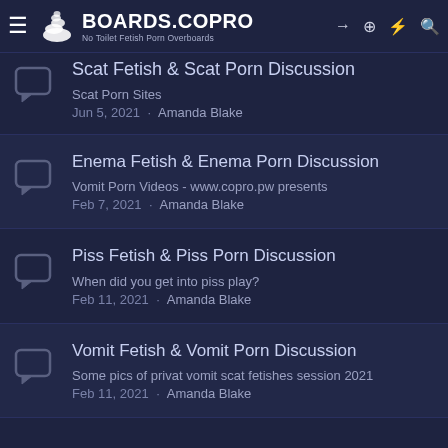BOARDS.COPRO — No Toilet Fetish Porn Overboards
Scat Fetish & Scat Porn Discussion — Scat Porn Sites · Jun 5, 2021 · Amanda Blake
Enema Fetish & Enema Porn Discussion — Vomit Porn Videos - www.copro.pw presents · Feb 7, 2021 · Amanda Blake
Piss Fetish & Piss Porn Discussion — When did you get into piss play? · Feb 11, 2021 · Amanda Blake
Vomit Fetish & Vomit Porn Discussion — Some pics of privat vomit scat fetishes session 2021 · Feb 11, 2021 · Amanda Blake